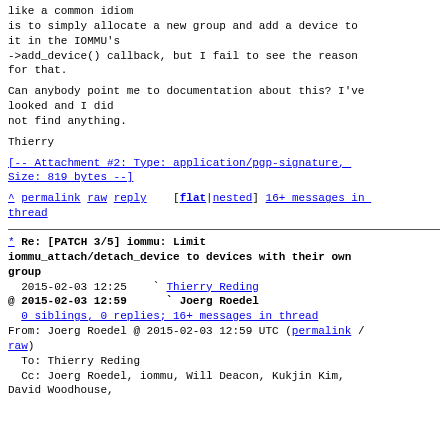like a common idiom
is to simply allocate a new group and add a device to
it in the IOMMU's
->add_device() callback, but I fail to see the reason
for that.
Can anybody point me to documentation about this? I've
looked and I did
not find anything.
Thierry
[-- Attachment #2: Type: application/pgp-signature, Size: 819 bytes --]
^ permalink raw reply    [flat|nested] 16+ messages in thread
* Re: [PATCH 3/5] iommu: Limit iommu_attach/detach_device to devices with their own group
  2015-02-03 12:25    ` Thierry Reding
@ 2015-02-03 12:59      ` Joerg Roedel
  0 siblings, 0 replies; 16+ messages in thread
From: Joerg Roedel @ 2015-02-03 12:59 UTC (permalink / raw)
  To: Thierry Reding
  Cc: Joerg Roedel, iommu, Will Deacon, Kukjin Kim, David Woodhouse,